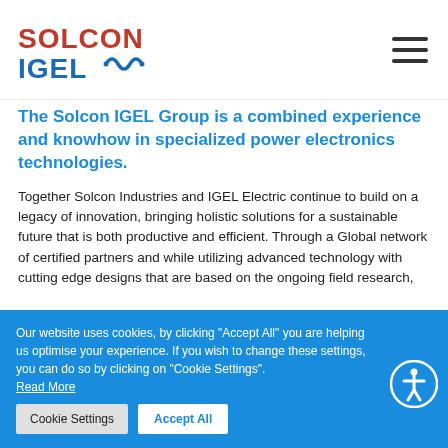[Figure (logo): Solcon IGEL logo with red SOLCON text and blue IGEL text with stylized wave/circuit mark]
The Solcon IGEL Group is a combined experience and knowhow in specialized power electronics technologies.
Together Solcon Industries and IGEL Electric continue to build on a legacy of innovation, bringing holistic solutions for a sustainable future that is both productive and efficient. Through a Global network of certified partners and while utilizing advanced technology with cutting edge designs that are based on the ongoing field research,
Our website uses cookies, by clicking "Accept All" you are helping us optimise your experience. If you wish to change these settings, you can do so by clicking on "Cookie Settings". Read More
Cookie Settings    Accept All